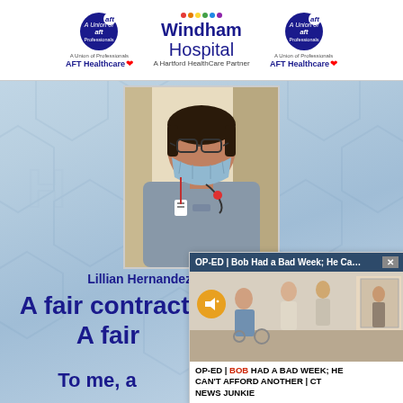[Figure (logo): AFT Healthcare union logo left with Windham Hospital Hartford HealthCare Partner center branding and AFT Healthcare logo right]
[Figure (photo): Lillian Hernandez, Food and Nutrition worker, wearing gray scrubs and a blue medical mask, with glasses]
Lillian Hernandez - Food and Nutrition
A fair contract means stability.
A fair
To me, a
[Figure (screenshot): Popup overlay showing OP-ED article titled 'Bob Had a Bad Week; He Ca...' with a mute button and video thumbnail of people in a hallway, and caption 'OP-ED | BOB HAD A BAD WEEK; HE CAN'T AFFORD ANOTHER | CT NEWS JUNKIE']